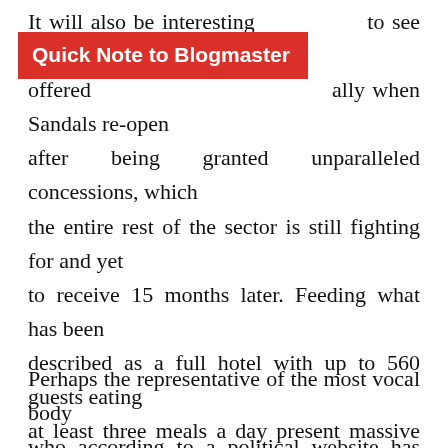It will also be interesting to see exactly what is offered locally when Sandals re-open after being granted unparalleled concessions, which the entire rest of the sector is still fighting for and yet to receive 15 months later. Feeding what has been described as a full hotel with up to 560 guests eating at least three meals a day present massive logistical challenges, so I hope that our agricultural sector can rise to the task. Otherwise the regular tirades condemning the remaining hospitality partners may appear to just have been window dressing aimed at the general populous, who may not fully understand the workings and difficulties presenting tourism here.
Perhaps the representative of the most vocal body who according to a political website has 'devoted much of his time to looking after the interests of the